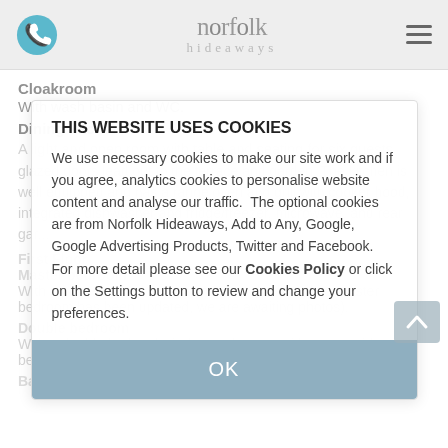Norfolk Hideaways
Cloakroom
With wash basin and WC.
Dining kitchen
A light and open room with table and seating for six guests glazed doors lead out to the terrace and garden. The kitchen is well equipped and has a range oven and grill with cooker hood, integrated dishwasher and fridge/freezer, microwave, and rear garden access.
First Floor
Master bedroom
With a king-size bed and a window to the front (the master bedroom has been updated, we are awaiting photos).
Double bedroom
With a double bed and window to the rear with countryside views beyond.
Bathroom
[Figure (screenshot): Cookie consent popup overlay reading THIS WEBSITE USES COOKIES with OK button]
THIS WEBSITE USES COOKIES
We use necessary cookies to make our site work and if you agree, analytics cookies to personalise website content and analyse our traffic. The optional cookies are from Norfolk Hideaways, Add to Any, Google, Google Advertising Products, Twitter and Facebook. For more detail please see our Cookies Policy or click on the Settings button to review and change your preferences.